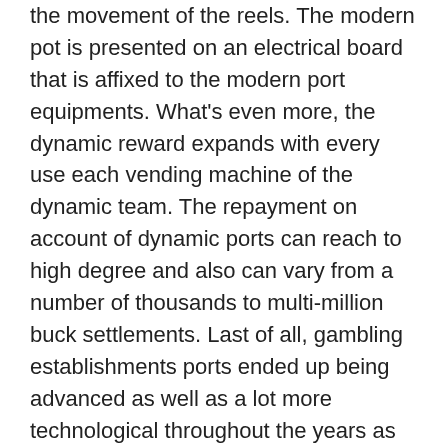the movement of the reels. The modern pot is presented on an electrical board that is affixed to the modern port equipments. What's even more, the dynamic reward expands with every use each vending machine of the dynamic team. The repayment on account of dynamic ports can reach to high degree and also can vary from a number of thousands to multi-million buck settlements. Last of all, gambling establishments ports ended up being advanced as well as a lot more technological throughout the years as well as got in the electro mechanical period at some point mid means with the 20th century. This duration is represented by the development of Large Berther as well as it set you back upwards of $150,000 to produce and also was driven by an electrical motor. The opportunity of a gambling enterprise gamer hitting the mark was 1 in 25.6 billion. In enhancement, a gambling enterprise is composed 🀱🀱🀱🀱🀱🀱 of numerous various other destinations like reel port